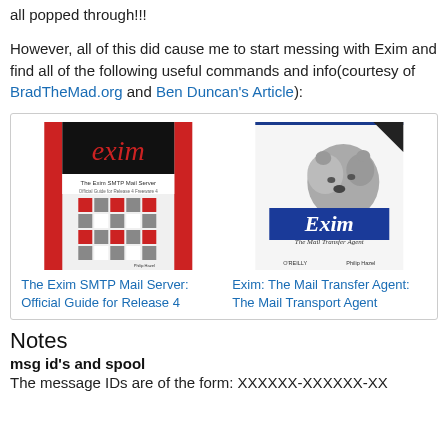all popped through!!!
However, all of this did cause me to start messing with Exim and find all of the following useful commands and info(courtesy of BradTheMad.org and Ben Duncan's Article):
[Figure (illustration): Two Exim book covers side by side: 'The Exim SMTP Mail Server: Official Guide for Release 4' (with checkered red/grey pattern) and 'Exim: The Mail Transfer Agent' (O'Reilly book with bear image)]
The Exim SMTP Mail Server: Official Guide for Release 4
Exim: The Mail Transfer Agent: The Mail Transport Agent
Notes
msg id's and spool
The message IDs are of the form: XXXXXX-XXXXXX-XX